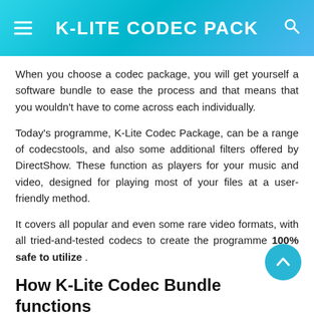K-LITE CODEC PACK
When you choose a codec package, you will get yourself a software bundle to ease the process and that means that you wouldn't have to come across each individually.
Today's programme, K-Lite Codec Package, can be a range of codecstools, and also some additional filters offered by DirectShow. These function as players for your music and video, designed for playing most of your files at a user-friendly method.
It covers all popular and even some rare video formats, with all tried-and-tested codecs to create the programme 100% safe to utilize .
How K-Lite Codec Bundle functions
Once you download the file, the intelligent installer will